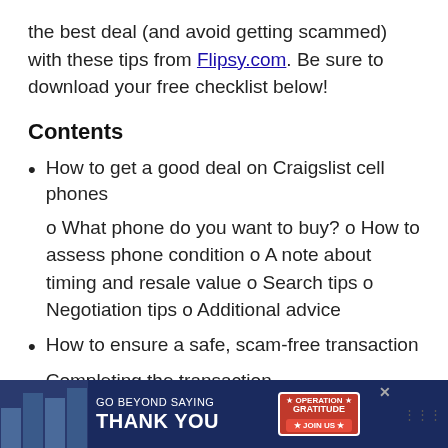the best deal (and avoid getting scammed) with these tips from Flipsy.com. Be sure to download your free checklist below!
Contents
How to get a good deal on Craigslist cell phones
o What phone do you want to buy? o How to assess phone condition o A note about timing and resale value o Search tips o Negotiation tips o Additional advice
How to ensure a safe, scam-free transaction
Completing the transaction
[Figure (screenshot): Advertisement banner: 'GO BEYOND SAYING THANK YOU' with Operation Gratitude logo and JOIN US button, over dark blue background with people in background.]